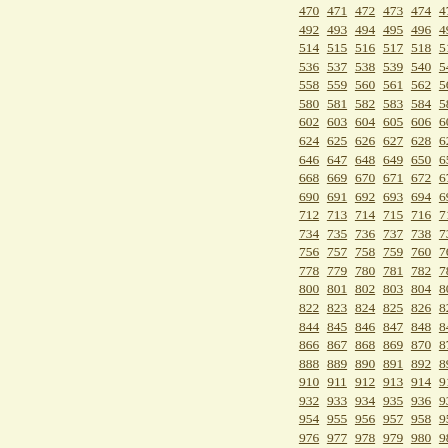470 471 472 473 474 475 476 477 478 479 480 481 492 493 494 495 496 497 498 499 500 501 502 503 514 515 516 517 518 519 520 521 522 523 524 525 536 537 538 539 540 541 542 543 544 545 546 547 558 559 560 561 562 563 564 565 566 567 568 569 580 581 582 583 584 585 586 587 588 589 590 591 602 603 604 605 606 607 608 609 610 611 612 613 624 625 626 627 628 629 630 631 632 633 634 635 646 647 648 649 650 651 652 653 654 655 656 657 668 669 670 671 672 673 674 675 676 677 678 679 690 691 692 693 694 695 696 697 698 699 700 701 712 713 714 715 716 717 718 719 720 721 722 723 734 735 736 737 738 739 740 741 742 743 744 745 756 757 758 759 760 761 762 763 764 765 766 767 778 779 780 781 782 783 784 785 786 787 788 789 800 801 802 803 804 805 806 807 808 809 810 811 822 823 824 825 826 827 828 829 830 831 832 833 844 845 846 847 848 849 850 851 852 853 854 855 866 867 868 869 870 871 872 873 874 875 876 877 888 889 890 891 892 893 894 895 896 897 898 899 910 911 912 913 914 915 916 917 918 919 920 921 932 933 934 935 936 937 938 939 940 941 942 943 954 955 956 957 958 959 960 961 962 963 964 965 976 977 978 979 980 981 982 983 984 985 986 987 998 999 1000 1001 1002 1003 1004 1005 1006 1007